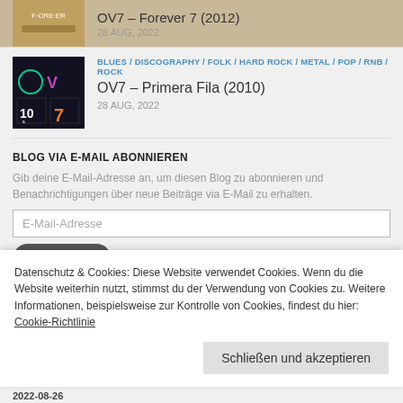[Figure (photo): Album cover for OV7 Forever 7 2012, partial view at top]
OV7 – Forever 7 (2012)
28 AUG, 2022
[Figure (photo): Album cover for OV7 Primera Fila 2010, dark background with colored geometric OV7 logo]
BLUES / DISCOGRAPHY / FOLK / HARD ROCK / METAL / POP / RNB / ROCK
OV7 – Primera Fila (2010)
28 AUG, 2022
BLOG VIA E-MAIL ABONNIEREN
Gib deine E-Mail-Adresse an, um diesen Blog zu abonnieren und Benachrichtigungen über neue Beiträge via E-Mail zu erhalten.
E-Mail-Adresse
Datenschutz & Cookies: Diese Website verwendet Cookies. Wenn du die Website weiterhin nutzt, stimmst du der Verwendung von Cookies zu. Weitere Informationen, beispielsweise zur Kontrolle von Cookies, findest du hier: Cookie-Richtlinie
Schließen und akzeptieren
2022-08-26